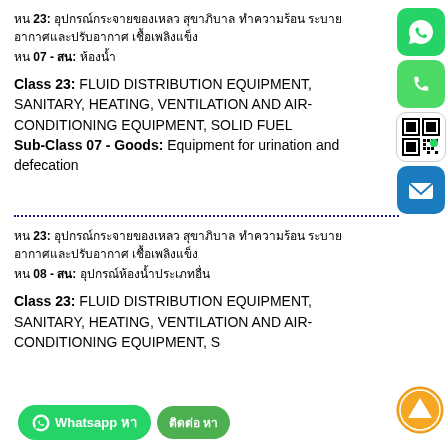หน 23: อุปกรณ์กระจายของเหลว สุขาภิบาล ทำความร้อน
หน 07 - สน: ห้องน้ำ
Class 23: FLUID DISTRIBUTION EQUIPMENT, SANITARY, HEATING, VENTILATION AND AIR-CONDITIONING EQUIPMENT, SOLID FUEL
Sub-Class 07 - Goods: Equipment for urination and defecation
หน 23: อุปกรณ์กระจายของเหลว สุขาภิบาล ทำความร้อน
หน 08 - สน: อุปกรณ์ห้องน้ำประเภทอื่น
Class 23: FLUID DISTRIBUTION EQUIPMENT, SANITARY, HEATING, VENTILATION AND AIR-CONDITIONING EQUIPMENT, S...